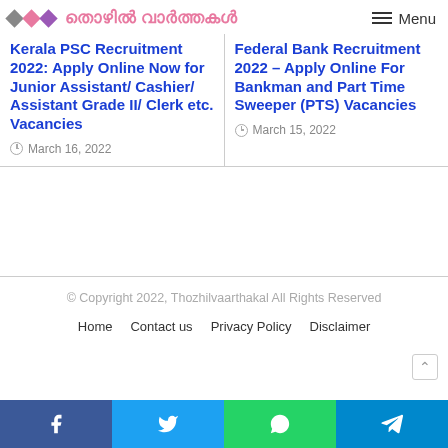തൊഴില്‍ വാര്‍ത്തകള്‍ | Menu
Kerala PSC Recruitment 2022: Apply Online Now for Junior Assistant/ Cashier/ Assistant Grade II/ Clerk etc. Vacancies
March 16, 2022
Federal Bank Recruitment 2022 – Apply Online For Bankman and Part Time Sweeper (PTS) Vacancies
March 15, 2022
© Copyright 2022, Thozhilvaarthakal All Rights Reserved
Home  Contact us  Privacy Policy  Disclaimer